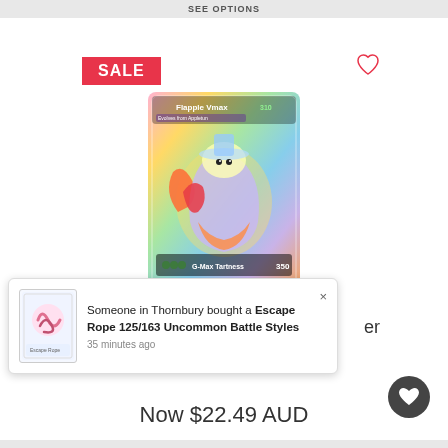SEE OPTIONS
SALE
[Figure (photo): Flapple VMAX rainbow rare Pokémon trading card with colorful rainbow art featuring Flapple, with G-Max Tartness attack listed for 350 damage]
Someone in Thornbury bought a Escape Rope 125/163 Uncommon Battle Styles
35 minutes ago
Now $22.49 AUD